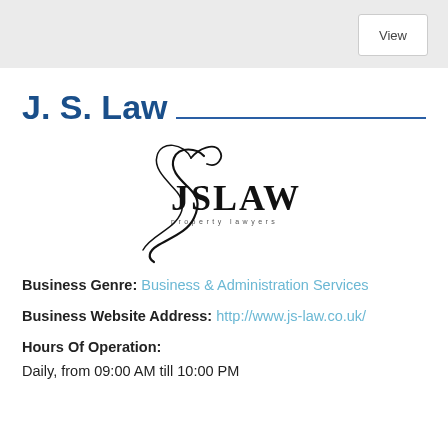View
J. S. Law
[Figure (logo): JSLAW property lawyers logo with stylized calligraphic J signature]
Business Genre: Business & Administration Services
Business Website Address: http://www.js-law.co.uk/
Hours Of Operation: Daily, from 09:00 AM till 10:00 PM